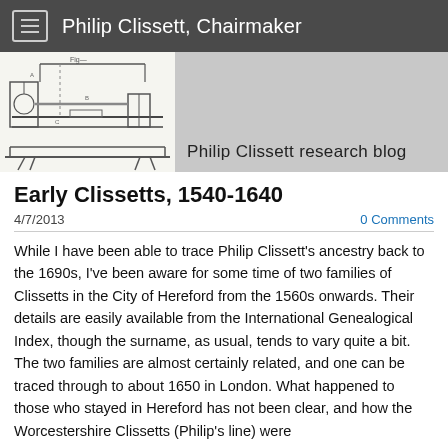Philip Clissett, Chairmaker
[Figure (illustration): Sketch/engraving of a woodworking lathe or chairmaking apparatus, line drawing style]
Philip Clissett research blog
Early Clissetts, 1540-1640
4/7/2013
0 Comments
While I have been able to trace Philip Clissett's ancestry back to the 1690s, I've been aware for some time of two families of Clissetts in the City of Hereford from the 1560s onwards. Their details are easily available from the International Genealogical Index, though the surname, as usual, tends to vary quite a bit. The two families are almost certainly related, and one can be traced through to about 1650 in London. What happened to those who stayed in Hereford has not been clear, and how the Worcestershire Clissetts (Philip's line) were